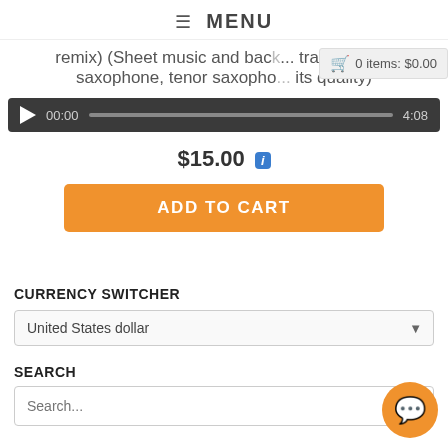≡ MENU
remix) (Sheet music and back... track for alto saxophone, tenor saxopho... its quality)
0 items: $0.00
[Figure (other): Audio player bar showing 00:00 / 4:08]
$15.00 i
ADD TO CART
CURRENCY SWITCHER
United States dollar
SEARCH
Search...